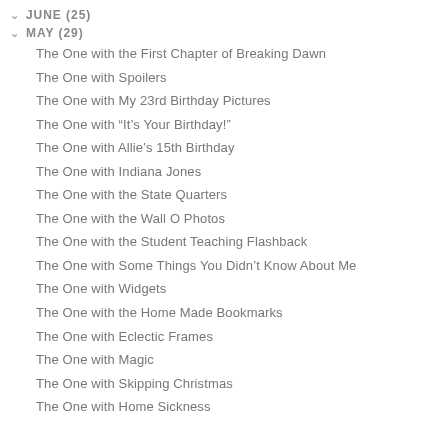JUNE (25)
MAY (29)
The One with the First Chapter of Breaking Dawn
The One with Spoilers
The One with My 23rd Birthday Pictures
The One with "It's Your Birthday!"
The One with Allie's 15th Birthday
The One with Indiana Jones
The One with the State Quarters
The One with the Wall O Photos
The One with the Student Teaching Flashback
The One with Some Things You Didn't Know About Me
The One with Widgets
The One with the Home Made Bookmarks
The One with Eclectic Frames
The One with Magic
The One with Skipping Christmas
The One with Home Sickness